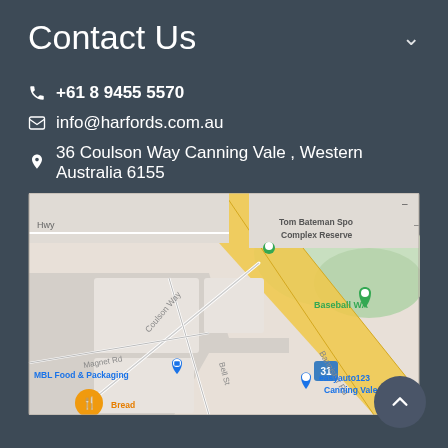Contact Us
+61 8 9455 5570
info@harfords.com.au
36 Coulson Way Canning Vale , Western Australia 6155
[Figure (map): Google Maps screenshot showing Coulson Way, Canning Vale area with landmarks: Tom Bateman Spo Complex Reserve, Baseball WA, MBL Food & Packaging, easyauto123 Canning Vale, Bannister Rd, Bell St, Magnet Rd, Hwy, road number 31 marker.]